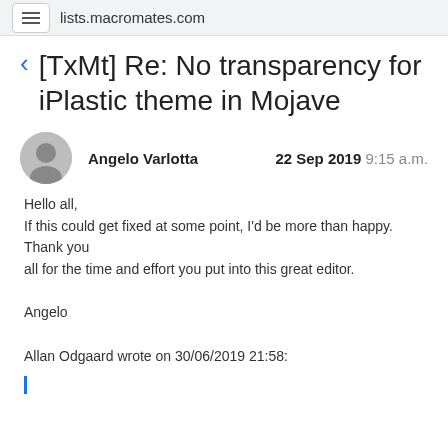lists.macromates.com
[TxMt] Re: No transparency for iPlastic theme in Mojave
Angelo Varlotta   22 Sep 2019 9:15 a.m.
Hello all,
If this could get fixed at some point, I'd be more than happy.
Thank you
all for the time and effort you put into this great editor.

Angelo

Allan Odgaard wrote on 30/06/2019 21:58: